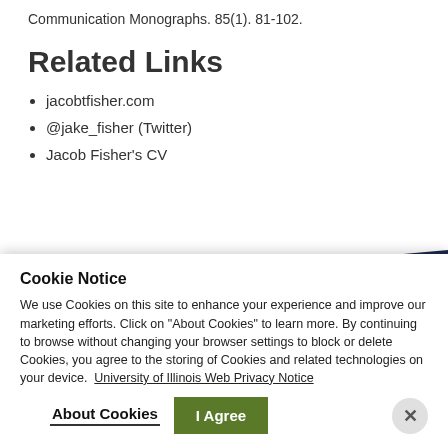Communication Monographs. 85(1). 81-102.
Related Links
jacobtfisher.com
@jake_fisher (Twitter)
Jacob Fisher's CV
Overview
Degrees & Programs
Classes & Requirements
Faculty
News
Cookie Notice
We use Cookies on this site to enhance your experience and improve our marketing efforts. Click on "About Cookies" to learn more. By continuing to browse without changing your browser settings to block or delete Cookies, you agree to the storing of Cookies and related technologies on your device. University of Illinois Web Privacy Notice